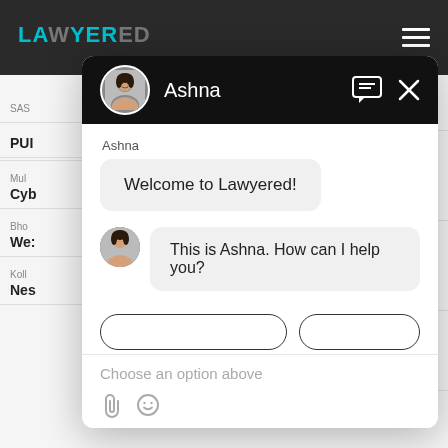[Figure (screenshot): Lawyered website background with dark top navigation bar showing cyan/teal LAWYERED logo and hamburger menu. Below shows partial website content rows with city/category labels like SAS, MUM, Bho, Koll partially visible.]
[Figure (screenshot): Chat popup overlay showing agent Ashna. Header: black background with circular avatar photo of woman named Ashna, chat icon and X close button. Chat body: 'Welcome to Lawyered!' message bubble, then avatar with 'This is Ashna. How can I help you?' message bubble. Two option buttons partially visible. Input area with 'Choose an option above' placeholder text and attachment/emoji icons.]